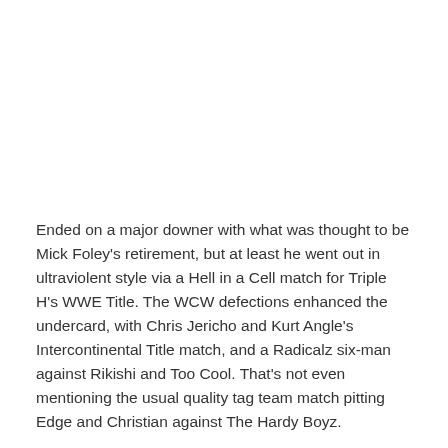Ended on a major downer with what was thought to be Mick Foley's retirement, but at least he went out in ultraviolent style via a Hell in a Cell match for Triple H's WWE Title. The WCW defections enhanced the undercard, with Chris Jericho and Kurt Angle's Intercontinental Title match, and a Radicalz six-man against Rikishi and Too Cool. That's not even mentioning the usual quality tag team match pitting Edge and Christian against The Hardy Boyz.
11. No Mercy 2008 (October 5, 2008 – Portland, OR)